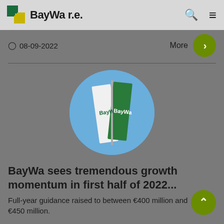BayWa r.e.
08-09-2022
More
[Figure (photo): Circular photo of two BayWa branded flags (one white, one green) against a blue sky background]
BayWa sees tremendous growth momentum in first half of 2022...
Full-year guidance raised to between €400 million and €450 million.